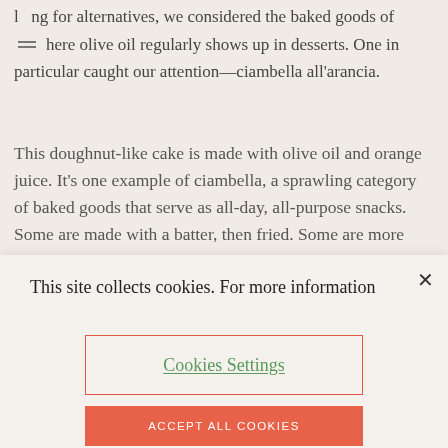ng for alternatives, we considered the baked goods of here olive oil regularly shows up in desserts. One in particular caught our attention—ciambella all'arancia.
This doughnut-like cake is made with olive oil and orange juice. It's one example of ciambella, a sprawling category of baked goods that serve as all-day, all-purpose snacks. Some are made with a batter, then fried. Some are more like bread or crackers, kneaded and shaped like dough. Others are baked in ring molds, giving them the trademark circular shape that specifically identifies bell...
This site collects cookies. For more information
Cookies Settings
ACCEPT ALL COOKIES